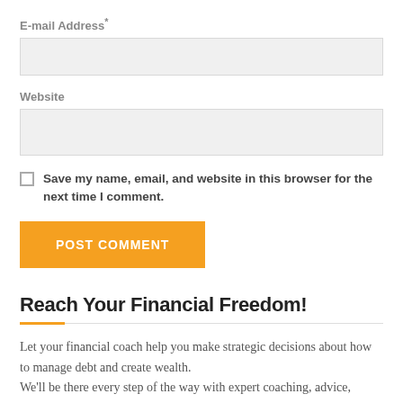E-mail Address*
Website
Save my name, email, and website in this browser for the next time I comment.
POST COMMENT
Reach Your Financial Freedom!
Let your financial coach help you make strategic decisions about how to manage debt and create wealth. We'll be there every step of the way with expert coaching, advice,